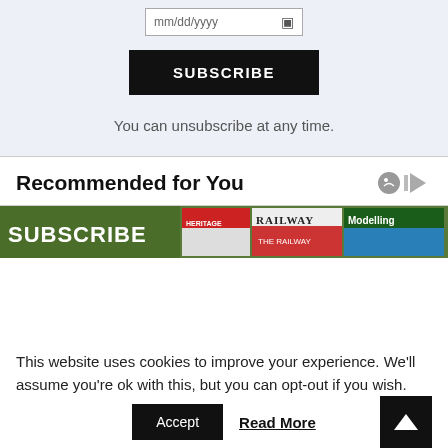mm/dd/yyyy
SUBSCRIBE
You can unsubscribe at any time.
Recommended for You
[Figure (photo): Subscribe banner showing Railway, Modelling and Heritage magazine covers with SUBSCRIBE text in green]
This website uses cookies to improve your experience. We'll assume you're ok with this, but you can opt-out if you wish.
Accept
Read More